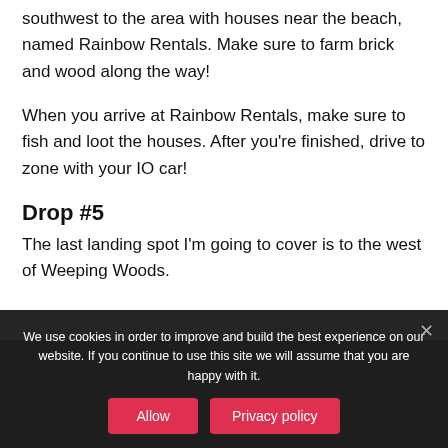After looting the building, take the IO car and head southwest to the area with houses near the beach, named Rainbow Rentals. Make sure to farm brick and wood along the way!
When you arrive at Rainbow Rentals, make sure to fish and loot the houses. After you're finished, drive to zone with your IO car!
Drop #5
The last landing spot I'm going to cover is to the west of Weeping Woods.
We use cookies in order to improve and build the best experience on our website. If you continue to use this site we will assume that you are happy with it.